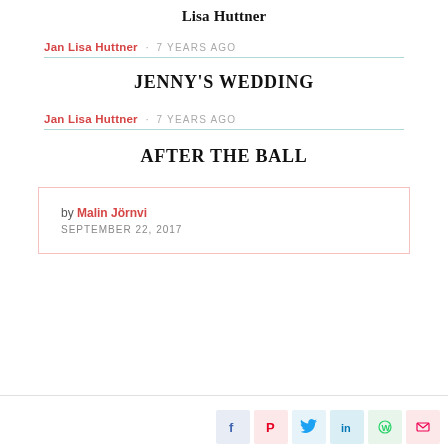Lisa Huttner
Jan Lisa Huttner · 7 YEARS AGO
JENNY'S WEDDING
Jan Lisa Huttner · 7 YEARS AGO
AFTER THE BALL
by Malin Jörnvi
SEPTEMBER 22, 2017